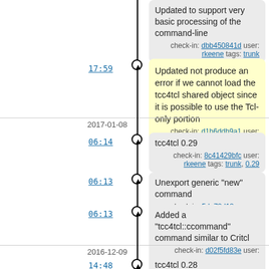Updated to support very basic processing of the command-line
check-in: dbb450841d user: rkeene tags: trunk
17:59 — Updated not produce an error if we cannot load the tcc4tcl shared object since it is possible to use the Tcl-only portion
check-in: d1b6ddb9a1 user: rkeene tags: trunk
2017-01-08
06:14 — tcc4tcl 0.29
check-in: 8c41429bfc user: rkeene tags: trunk, 0.29
06:13 — Unexport generic "new" command
check-in: 5de78d18ca user: rkeene tags: trunk
06:13 — Added a "tcc4tcl::ccommand" command similar to Critcl
check-in: d02f5fd83e user: rkeene tags: trunk
2016-12-09
14:48 — tcc4tcl 0.28
check-in: a86f876ef8 user: rkeene tags: trunk, 0.28